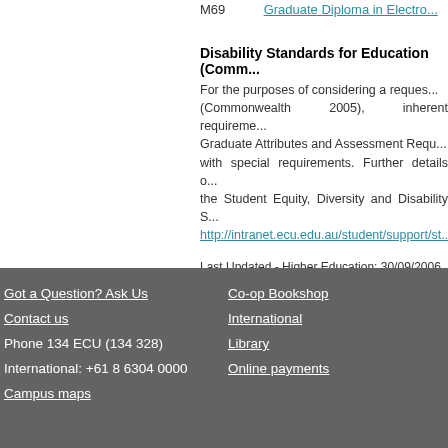M69    Graduate Diploma in Electro...
Disability Standards for Education (Comm...
For the purposes of considering a request... (Commonwealth 2005), inherent requireme... Graduate Attributes and Assessment Requ... with special requirements. Further details on... the Student Equity, Diversity and Disability S... http://intranet.ecu.edu.au/student/support/st...
Last Updated - Higher Education: 30/09/2006 VET: 30/...
Got a Question? Ask Us | Contact us | Phone 134 ECU (134 328) | International: +61 8 6304 0000 | Campus maps | Co-op Bookshop | International | Library | Online payments